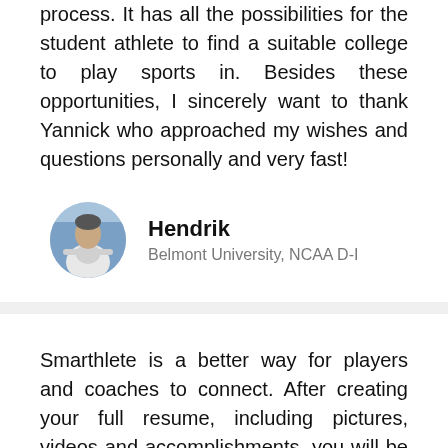process. It has all the possibilities for the student athlete to find a suitable college to play sports in. Besides these opportunities, I sincerely want to thank Yannick who approached my wishes and questions personally and very fast!
[Figure (photo): Circular avatar photo of Hendrik, a student athlete]
Hendrik
Belmont University, NCAA D-I
Smarthlete is a better way for players and coaches to connect. After creating your full resume, including pictures, videos and accomplishments, you will be able to view schools and their coaches and know when they